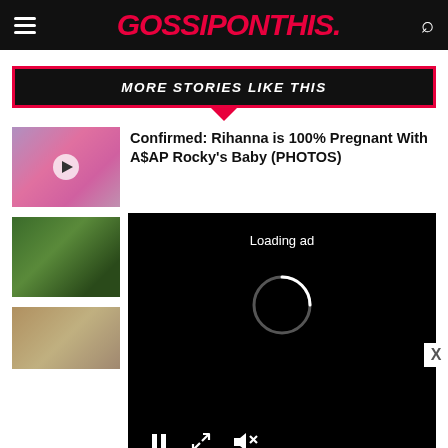GOSSIPONTHIS.
MORE STORIES LIKE THIS
Confirmed: Rihanna is 100% Pregnant With A$AP Rocky's Baby (PHOTOS)
[Figure (photo): Thumbnail photo of Rihanna and A$AP Rocky with play button overlay]
Ne... Roc... Sha...
[Figure (photo): Thumbnail photo of couple at event]
Rihanna Abruptly Splits From Billionaire Boyfriend After 3 Years of Dating
[Figure (photo): Thumbnail photo of Rihanna and man]
[Figure (screenshot): Loading ad overlay with spinner and media controls]